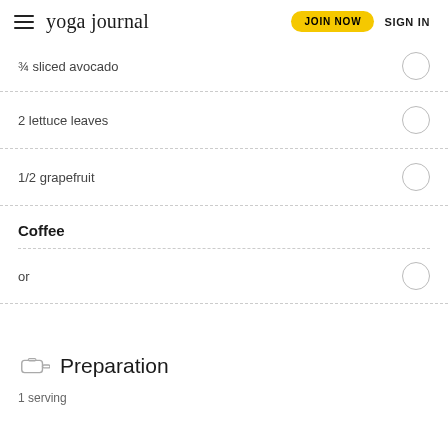yoga journal | JOIN NOW | SIGN IN
¾ sliced avocado
2 lettuce leaves
1/2 grapefruit
Coffee
or
Preparation
1 serving